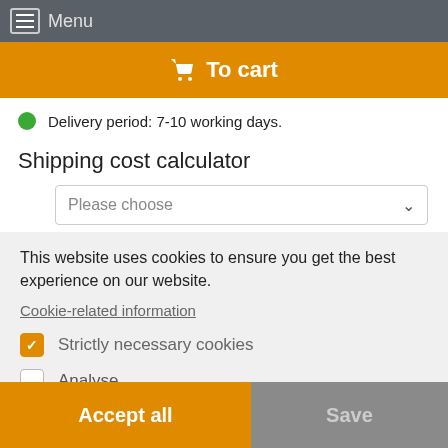Menu
To cart
Delivery period: 7-10 working days.
Shipping cost calculator
Please choose
This website uses cookies to ensure you get the best experience on our website.
Cookie-related information
Strictly necessary cookies
Analyse
Marketing
Accept all
Save